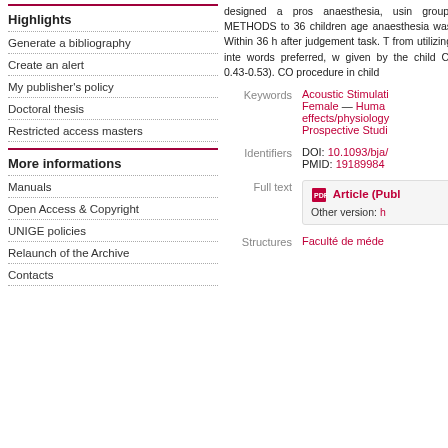Highlights
Generate a bibliography
Create an alert
My publisher's policy
Doctoral thesis
Restricted access masters
More informations
Manuals
Open Access & Copyright
UNIGE policies
Relaunch of the Archive
Contacts
designed a pros anaesthesia, using group. METHODS to 36 children age anaesthesia was Within 36 h after judgement task. T from utilizing inte words preferred, w given by the child CI 0.43-0.53). C procedure in child
Keywords  Acoustic Stimulati Female — Huma effects/physiology Prospective Studi
Identifiers  DOI: 10.1093/bja/ PMID: 19189984
Full text  Article (Publ Other version: h
Structures  Faculté de méde